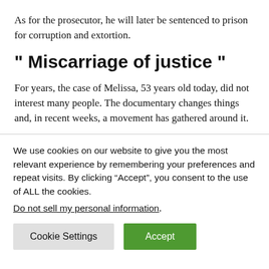As for the prosecutor, he will later be sentenced to prison for corruption and extortion.
" Miscarriage of justice "
For years, the case of Melissa, 53 years old today, did not interest many people. The documentary changes things and, in recent weeks, a movement has gathered around it.
We use cookies on our website to give you the most relevant experience by remembering your preferences and repeat visits. By clicking “Accept”, you consent to the use of ALL the cookies.
Do not sell my personal information.